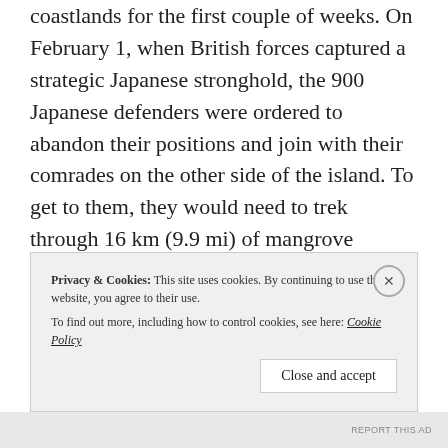coastlands for the first couple of weeks. On February 1, when British forces captured a strategic Japanese stronghold, the 900 Japanese defenders were ordered to abandon their positions and join with their comrades on the other side of the island. To get to them, they would need to trek through 16 km (9.9 mi) of mangrove swamp.
The British remained outside the swamp, encircling it, and trusting that what awaited
Privacy & Cookies: This site uses cookies. By continuing to use this website, you agree to their use.
To find out more, including how to control cookies, see here: Cookie Policy
Close and accept